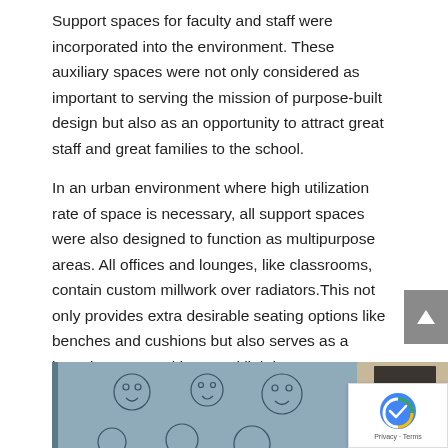Support spaces for faculty and staff were incorporated into the environment. These auxiliary spaces were not only considered as important to serving the mission of purpose-built design but also as an opportunity to attract great staff and great families to the school.
In an urban environment where high utilization rate of space is necessary, all support spaces were also designed to function as multipurpose areas. All offices and lounges, like classrooms, contain custom millwork over radiators.This not only provides extra desirable seating options like benches and cushions but also serves as a lounging space with natural lighting.
[Figure (photo): A photograph showing a blue wall with simple line-drawn face illustrations and a doorway with a door visible in the center of the image.]